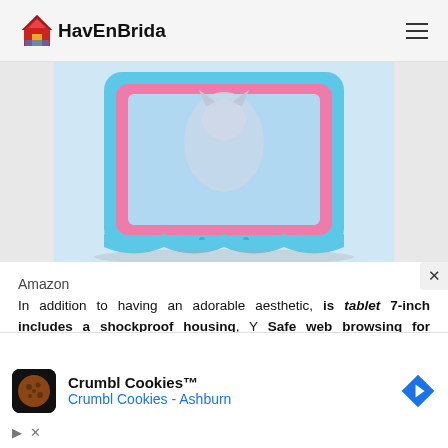HavEnBrida
[Figure (photo): A children's tablet with blue and pink shockproof case showing a kitten on screen, photographed on a white background.]
Amazon
In addition to having an adorable aesthetic, is tablet 7-inch includes a shockproof housing, Y Safe web browsing for children. Not to mention their 16 GB of storage with the possibility of adding a micro SD card up to 32 GB. or their two cameras: front
[Figure (screenshot): Advertisement for Crumbl Cookies - Ashburn with cookie logo and navigation arrow icon.]